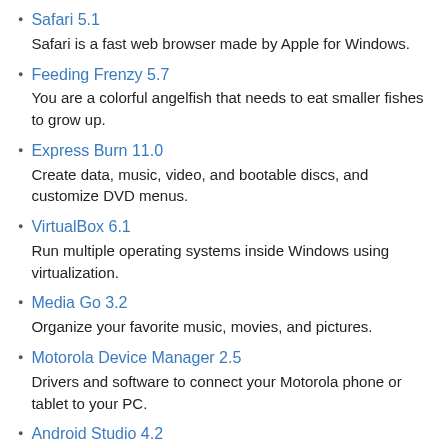Safari 5.1 — Safari is a fast web browser made by Apple for Windows.
Feeding Frenzy 5.7 — You are a colorful angelfish that needs to eat smaller fishes to grow up.
Express Burn 11.0 — Create data, music, video, and bootable discs, and customize DVD menus.
VirtualBox 6.1 — Run multiple operating systems inside Windows using virtualization.
Media Go 3.2 — Organize your favorite music, movies, and pictures.
Motorola Device Manager 2.5 — Drivers and software to connect your Motorola phone or tablet to your PC.
Android Studio 4.2